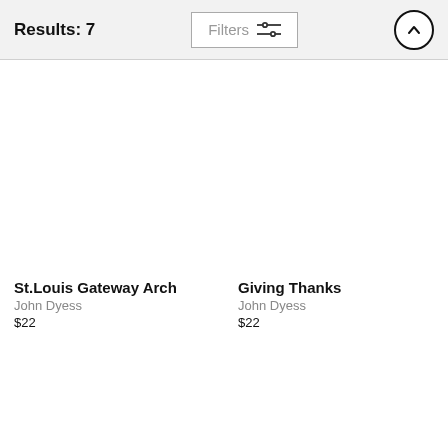Results: 7
Filters
St.Louis Gateway Arch
John Dyess
$22
Giving Thanks
John Dyess
$22